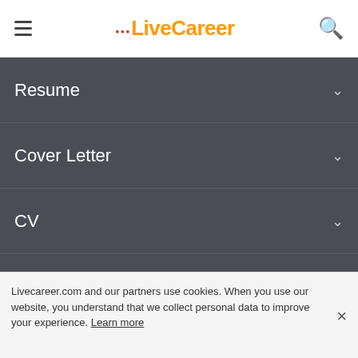LiveCareer
Resume
Cover Letter
CV
About
Languages
Help & Support
Livecareer.com and our partners use cookies. When you use our website, you understand that we collect personal data to improve your experience. Learn more